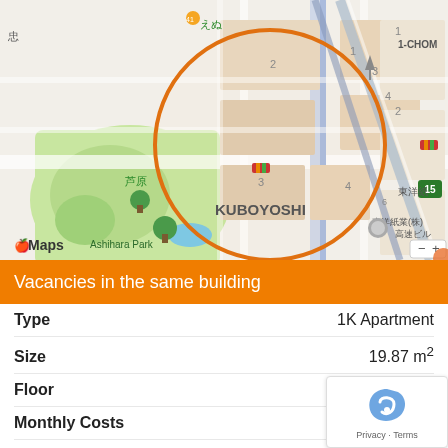[Figure (map): Apple Maps screenshot showing the KUBOYOSHI area in Japan. An orange circle highlights a building location. The map shows streets, Ashihara Park (green area), and nearby landmarks including 東洋紙業株 and route 15. Map labels include えぬ, 芦原, Ashihara Park, KUBOYOSHI, 東洋紙業(株) 高速ビル, and 1-CHOME.]
Vacancies in the same building
| Field | Value |
| --- | --- |
| Type | 1K Apartment |
| Size | 19.87 m² |
| Floor | 2F |
| Monthly Costs | ¥62,050 |
| Available From |  |